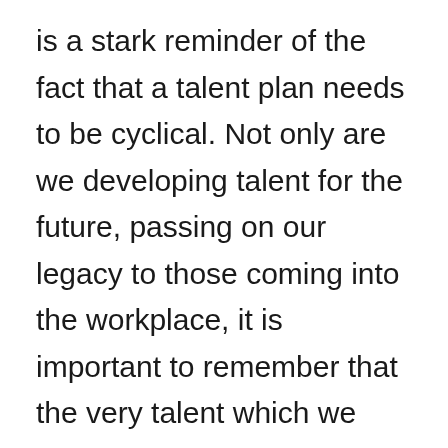is a stark reminder of the fact that a talent plan needs to be cyclical. Not only are we developing talent for the future, passing on our legacy to those coming into the workplace, it is important to remember that the very talent which we aim to teach, have plenty of skills, ideas and enthusiasm that us, over the hill 30+ year olds, can also learn a great deal from. In order to fully utilise its talent,